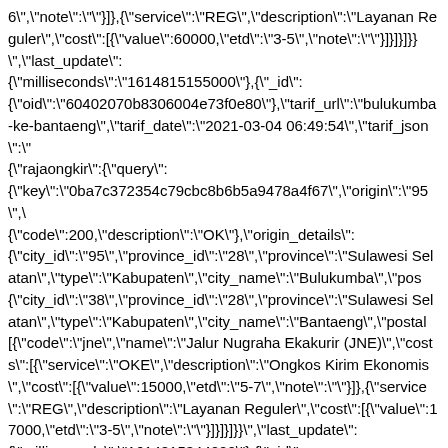6","note":""}]},{"service":"REG","description":"Layanan Reguler","cost":[{"value":60000,"etd":"3-5","note":""}]}]}]}}","last_update":{"milliseconds":"1614815155000"},{"_id":{"oid":"60402070b8306004e73f0e80"},"tarif_url":"bulukumba-ke-bantaeng","tarif_date":"2021-03-04 06:49:54","tarif_json":"{\"rajaongkir\":{\"query\":{\"key\":\"0ba7c372354c79cbc8b6b5a9478a4f67\",\"origin\":\"95\",\ {\"code\":200,\"description\":\"OK\"},\"origin_details\":{\"city_id\":\"95\",\"province_id\":\"28\",\"province\":\"Sulawesi Selatan\",\"type\":\"Kabupaten\",\"city_name\":\"Bulukumba\",\"pos {\"city_id\":\"38\",\"province_id\":\"28\",\"province\":\"Sulawesi Selatan\",\"type\":\"Kabupaten\",\"city_name\":\"Bantaeng\",\"postal [{\"code\":\"jne\",\"name\":\"Jalur Nugraha Ekakurir (JNE)\",\"costs\":[{\"service\":\"OKE\",\"description\":\"Ongkos Kirim Ekonomis\",\"cost\":[{\"value\":15000,\"etd\":\"5-7\",\"note\":\"\"}]},{\"service\":\"REG\",\"description\":\"Layanan Reguler\",\"cost\":[{\"value\":17000,\"etd\":\"3-5\",\"note\":\"\"}]}]}]}}","last_update":{"milliseconds":"1614815344000"},{"_id":{"oid":"604020f4b8306004e73f0e81"},"tarif_url":"lumajang-ke-sumbawa-barat","tarif_date":"2021-03-04 06:52:06","tarif_json":"{\"rajaongkir\":{\"query\":{\"key\":\"0ba7c372354c79cbc8b6b5a9478a4f67\",\"origin\":\"243\ {\"code\":200,\"description\":\"OK\"},\"origin_details\":